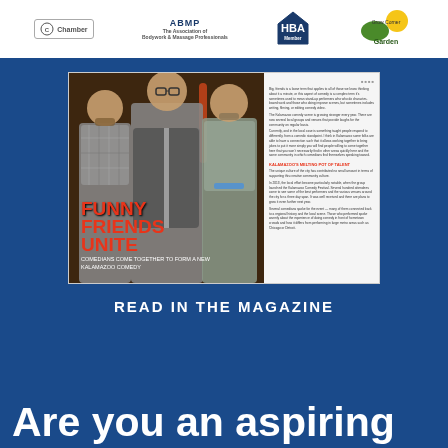[Figure (logo): Header bar with four organization logos: Chamber, ABMP, HBA, and Garden Center]
[Figure (photo): Magazine spread showing three comedians standing together with red neon-style text reading FUNNY FRIENDS UNITE, and article text on the right page. Subtitle reads: COMEDIANS COME TOGETHER TO FORM A NEW KALAMAZOO COMEDY]
READ IN THE MAGAZINE
Are you an aspiring